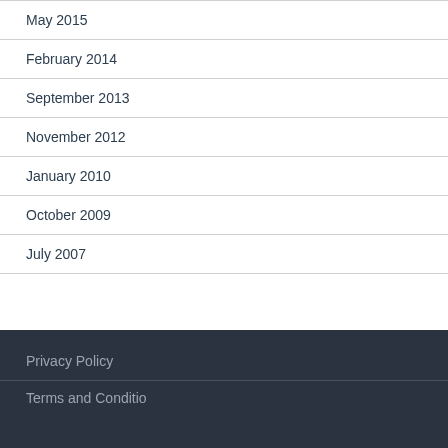May 2015
February 2014
September 2013
November 2012
January 2010
October 2009
July 2007
Privacy Policy
Terms and Conditio…